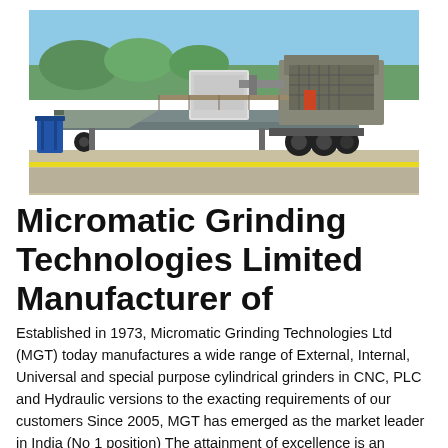[Figure (photo): A large industrial mobile crushing/grinding machine on a truck chassis, photographed outdoors on a concrete/tarmac surface. The machine is grey/silver colored with multiple mechanical components visible. A blue bin is visible to the left. Green vegetation in background.]
Micromatic Grinding Technologies Limited Manufacturer of
Established in 1973, Micromatic Grinding Technologies Ltd (MGT) today manufactures a wide range of External, Internal, Universal and special purpose cylindrical grinders in CNC, PLC and Hydraulic versions to the exacting requirements of our customers Since 2005, MGT has emerged as the market leader in India (No 1 position) The attainment of excellence is an ongoing initiative, and we at MGTThe name “Micromatic” is Synonymous with